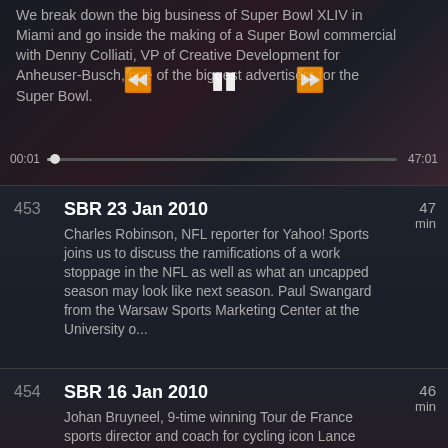We break down the big business of Super Bowl XLIV in Miami and go inside the making of a Super Bowl commercial with Denny Colliati, VP of Creative Development for Anheuser-Busch, one of the biggest advertisers for the Super Bowl.
00:01  47:01
453  SBR 23 Jan 2010  47 min  Charles Robinson, NFL reporter for Yahoo! Sports joins us to discuss the ramifications of a work stoppage in the NFL as well as what an uncapped season may look like next season. Paul Swangard from the Warsaw Sports Marketing Center at the University o...
454  SBR 16 Jan 2010  46 min  Johan Bruyneel, 9-time winning Tour de France sports director and coach for cycling icon Lance Armstrong joins us to discuss the sport of cycling and his cycling team - Team Radio Shack. We also discuss Pete Carroll's leap to the NFL and Mark McGwire's...
455  SBR 09 Jan 2010  47 min  Tim Lemke, sports business reporter and former Washington Times staffer joins us to discuss the future of the local newspaper and the role of the local sports page. We also discuss the BCS TV contract and the latest on the NFL stadium issue...